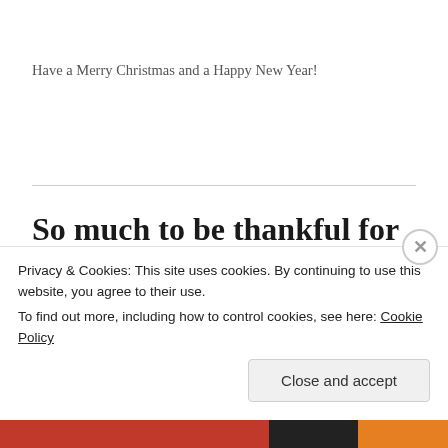Have a Merry Christmas and a Happy New Year!
So much to be thankful for
NOVEMBER 23, 2016 / LEAVE A COMMENT
Our world has much to be thankful for, yet we don't
Privacy & Cookies: This site uses cookies. By continuing to use this website, you agree to their use.
To find out more, including how to control cookies, see here: Cookie Policy
Close and accept